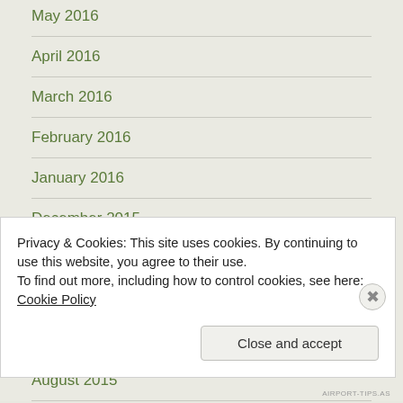May 2016
April 2016
March 2016
February 2016
January 2016
December 2015
November 2015
October 2015
September 2015
August 2015
Privacy & Cookies: This site uses cookies. By continuing to use this website, you agree to their use.
To find out more, including how to control cookies, see here: Cookie Policy
AIRPORT-TIPS.AS